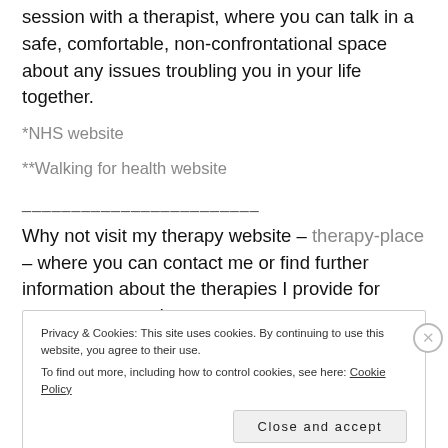session with a therapist, where you can talk in a safe, comfortable, non-confrontational space about any issues troubling you in your life together.
*NHS website
**Walking for health website
________________________
Why not visit my therapy website – therapy-place – where you can contact me or find further information about the therapies I provide for women, men and
Privacy & Cookies: This site uses cookies. By continuing to use this website, you agree to their use. To find out more, including how to control cookies, see here: Cookie Policy
Close and accept